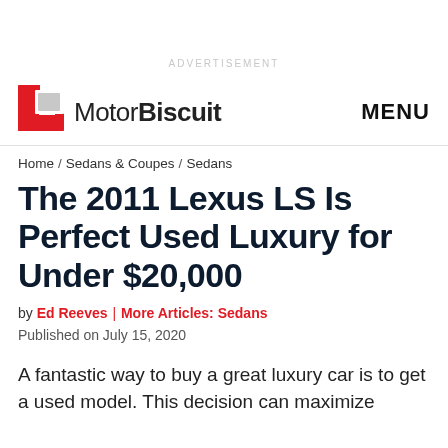ADVERTISEMENT
[Figure (logo): MotorBiscuit logo with red bracket icon on the left and MENU text on the right]
Home / Sedans & Coupes / Sedans
The 2011 Lexus LS Is Perfect Used Luxury for Under $20,000
by Ed Reeves | More Articles: Sedans
Published on July 15, 2020
A fantastic way to buy a great luxury car is to get a used model. This decision can maximize